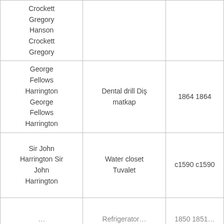| Crockett
Gregory
Hanson
Crockett
Gregory |  |  |
| George
Fellows
Harrington
George
Fellows
Harrington | Dental drill Diş
matkap | 1864 1864 |
| Sir John
Harrington Sir
John
Harrington | Water closet
Tuvalet | c1590 c1590 |
| … | Refrigerator… | 1850 1851… |